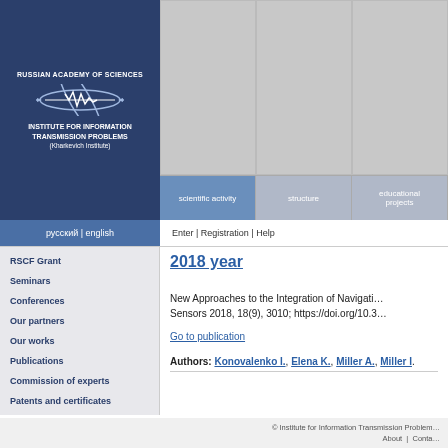[Figure (logo): Russian Academy of Sciences - Institute for Information Transmission Problems (Kharkevich Institute) logo and name on dark blue background]
[Figure (screenshot): Gray navigation boxes (top menu panels) and blue navigation tabs including 'scientific activity', 'structure', 'educational projects']
русский | english   Enter | Registration | Help
RSCF Grant
Seminars
Conferences
Our partners
Our works
Publications
Commission of experts
Patents and certificates
2018 year
New Approaches to the Integration of Navigation Sensors 2018, 18(9), 3010; https://doi.org/10.3
Go to publication
Authors: Konovalenko I., Elena K., Miller A., Miller I.
© Institute for Information Transmission Problems   About  |  Conta